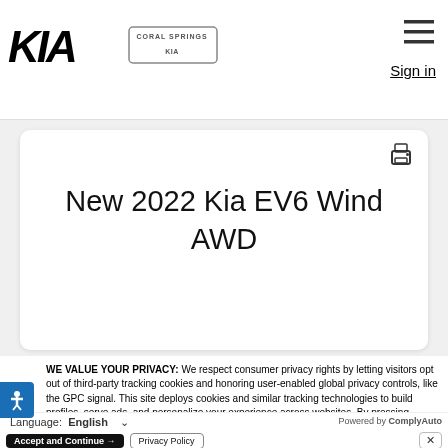[Figure (logo): KIA wordmark logo in bold italic, black]
[Figure (logo): Coral Springs dealership badge/logo]
Sign in
New 2022 Kia EV6 Wind AWD
WE VALUE YOUR PRIVACY: We respect consumer privacy rights by letting visitors opt out of third-party tracking cookies and honoring user-enabled global privacy controls, like the GPC signal. This site deploys cookies and similar tracking technologies to build profiles, serve ads, and personalize your experience across websites. By pressing accept, you consent to the use of such cookies. To manage your privacy rights or view the categories of personal information we collect and the purposes for which the information is used, click here.
Language: English
Powered by ComplyAuto
Accept and Continue →
Privacy Policy